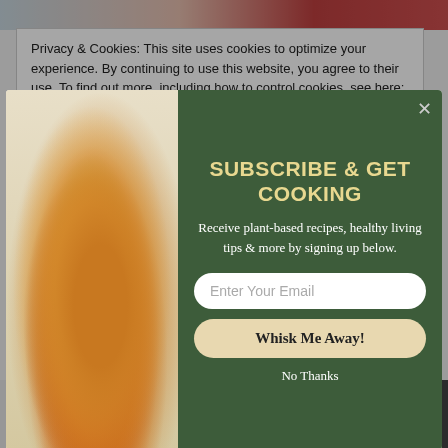[Figure (photo): Top strip showing food images — chopping board, tomatoes, meat]
Privacy & Cookies: This site uses cookies to optimize your experience. By continuing to use this website, you agree to their use. To find out more, including how to control cookies, see here: Cookie Policy Cookie Policy
[Figure (photo): Modal popup with burger image on left and subscription form on dark green background on right. Title: SUBSCRIBE & GET COOKING. Description: Receive plant-based recipes, healthy living tips & more by signing up below. Email input placeholder: Enter Your Email. Button: Whisk Me Away! Link: No Thanks]
No Thanks
[Figure (logo): SUMO badge with crown icon]
Shares
[Figure (infographic): Social sharing bar with Facebook, Twitter, Google+, Pinterest, Email, and SUMO buttons]